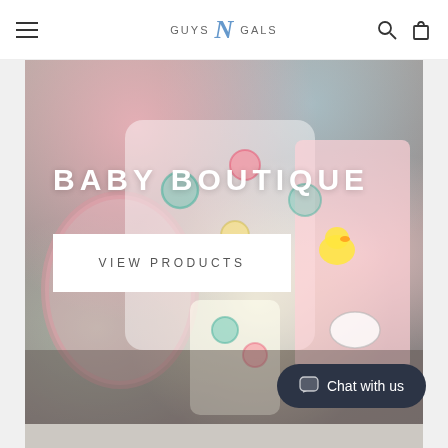GUYS N GALS — navigation header with hamburger menu, logo, search and cart icons
[Figure (photo): Baby boutique hero image showing tie-dye smiley face baby bibs and burp cloths in pink and pastel colors with a yellow duck toy]
BABY BOUTIQUE
VIEW PRODUCTS
Chat with us